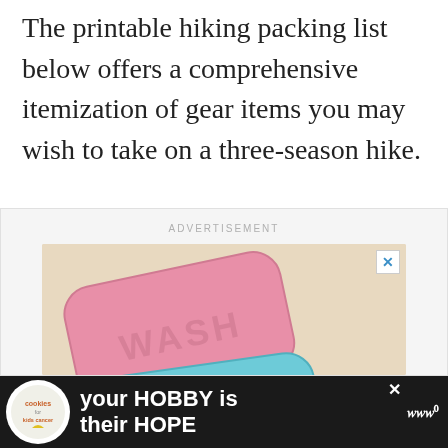The printable hiking packing list below offers a comprehensive itemization of gear items you may wish to take on a three-season hike.
[Figure (photo): Advertisement banner showing two soap bars — one pink labeled 'WASH' and one teal labeled 'HANDS' — with soap bubbles, on a beige background. Includes a close (X) button and a scroll-up button.]
[Figure (photo): Bottom banner advertisement for 'cookies for kids cancer' charity showing a child holding a heart-shaped cookie, with text 'your HOBBY is their HOPE' on a dark background.]